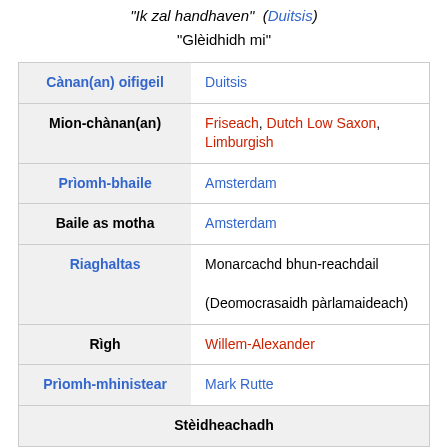"Ik zal handhaven" (Duitsis)
"Glèidhidh mi"
|  |  |
| --- | --- |
| Cànan(an) oifigeil | Duitsis |
| Mion-chànan(an) | Friseach, Dutch Low Saxon, Limburgish |
| Prìomh-bhaile | Amsterdam |
| Baile as motha | Amsterdam |
| Riaghaltas | Monarcachd bhun-reachdail
(Deomocrasaidh pàrlamaideach) |
| Rìgh | Willem-Alexander |
| Prìomh-mhinistear | Mark Rutte |
| Stèidheachadh |  |